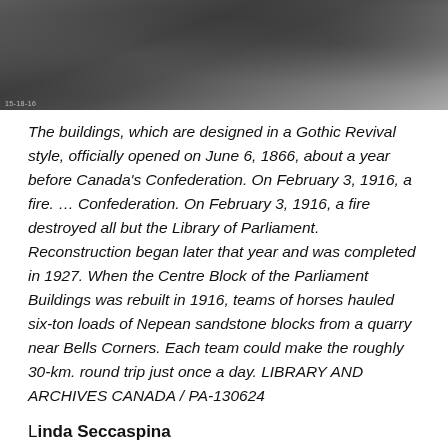[Figure (photo): Black and white historical photograph showing a construction or rubble scene, cropped at the top of the page.]
The buildings, which are designed in a Gothic Revival style, officially opened on June 6, 1866, about a year before Canada's Confederation. On February 3, 1916, a fire. … Confederation. On February 3, 1916, a fire destroyed all but the Library of Parliament. Reconstruction began later that year and was completed in 1927. When the Centre Block of the Parliament Buildings was rebuilt in 1916, teams of horses hauled six-ton loads of Nepean sandstone blocks from a quarry near Bells Corners. Each team could make the roughly 30-km. round trip just once a day. LIBRARY AND ARCHIVES CANADA / PA-130624
Linda Seccaspina
A few weeks ago I wrote about Mrs. Lowney who lived